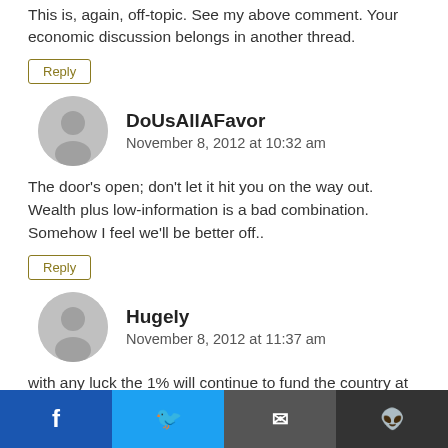This is, again, off-topic. See my above comment. Your economic discussion belongs in another thread.
Reply
DoUsAllAFavor
November 8, 2012 at 10:32 am
The door's open; don't let it hit you on the way out. Wealth plus low-information is a bad combination. Somehow I feel we'll be better off..
Reply
Hugely
November 8, 2012 at 11:37 am
with any luck the 1% will continue to fund the country at more appropriate levels – pasta willing. Where do you think you are going Singapore? Somalia?
[Figure (other): Social sharing bar with Facebook, Twitter, Email, Reddit icons]